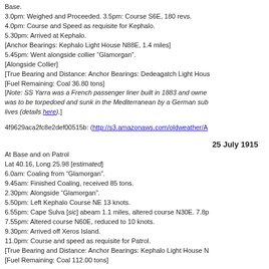Base.
3.0pm: Weighed and Proceeded. 3.5pm: Course S6E, 180 revs.
4.0pm: Course and Speed as requisite for Kephalo.
5.30pm: Arrived at Kephalo.
[Anchor Bearings: Kephalo Light House N88E, 1.4 miles]
5.45pm: Went alongside collier “Glamorgan”.
[Alongside Collier]
[True Bearing and Distance: Anchor Bearings: Dedeagatch Light House
[Fuel Remaining: Coal 36.80 tons]
[Note: SS Yarra was a French passenger liner built in 1883 and owned... was to be torpedoed and sunk in the Mediterranean by a German sub... lives (details here).]
4f9629aca2fc8e2def00515b: (http://s3.amazonaws.com/oldweather/A
25 July 1915
At Base and on Patrol
Lat 40.16, Long 25.98 [estimated]
6.0am: Coaling from “Glamorgan”.
9.45am: Finished Coaling, received 85 tons.
2.30pm: Alongside “Glamorgan”.
5.50pm: Left Kephalo Course NE 13 knots.
6.55pm: Cape Sulva [sic] abeam 1.1 miles, altered course N30E. 7.8p
7.55pm: Altered course N60E, reduced to 10 knots.
9.30pm: Arrived off Xeros Island.
11.0pm: Course and speed as requisite for Patrol.
[True Bearing and Distance: Anchor Bearings: Kephalo Light House N
[Fuel Remaining: Coal 112.00 tons]
4f9629aca2fc8e2def00515c: (http://s3.amazonaws.com/oldweather/Ab